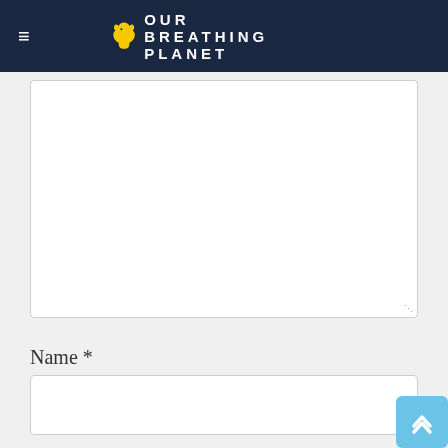OUR BREATHING PLANET
[Figure (other): Large empty textarea form field (comment box) with resize handle at bottom right]
Name *
[Figure (other): Name text input form field, empty]
[Figure (other): Scroll-to-top button with upward chevron arrow, light blue color, positioned at bottom right]